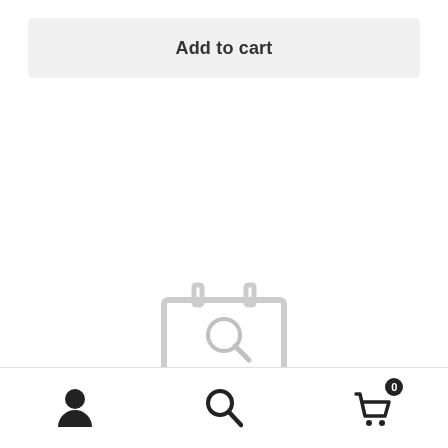Add to cart
[Figure (illustration): Ask for text watermark over a product image (shopping cart with items)]
Prices are in Canadian dollars. The use of cookie is required to facilitate navigation. Good visit! Dismiss
[Figure (other): Bottom navigation bar with user account icon, search icon, and shopping cart icon with badge showing 0]